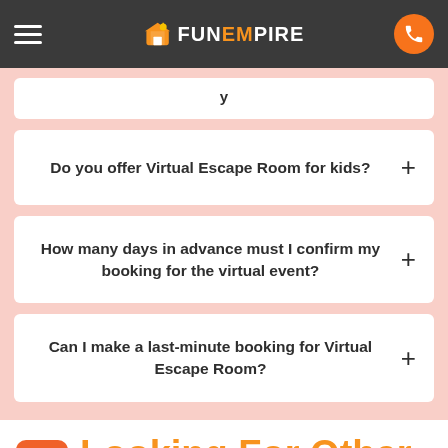FunEmpire
y (partial, cut off)
Do you offer Virtual Escape Room for kids?
How many days in advance must I confirm my booking for the virtual event?
Can I make a last-minute booking for Virtual Escape Room?
Looking For Other